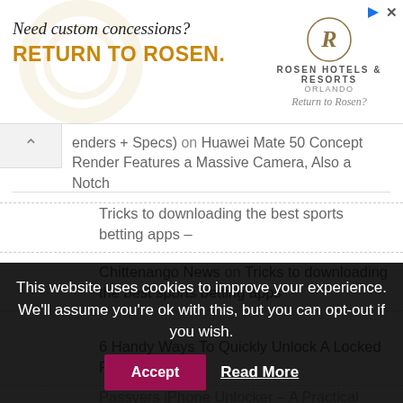[Figure (other): Rosen Hotels & Resorts advertisement banner with text 'Need custom concessions? RETURN TO ROSEN.' and hotel logo on the right]
(renders + Specs) on Huawei Mate 50 Concept Render Features a Massive Camera, Also a Notch
Tricks to downloading the best sports betting apps –
Chittenango News on Tricks to downloading the best sports betting apps
6 Handy Ways To Quickly Unlock A Locked Phone on
Passvers iPhone Unlocker – A Practical Fail-Safe for:
This website uses cookies to improve your experience. We'll assume you're ok with this, but you can opt-out if you wish.